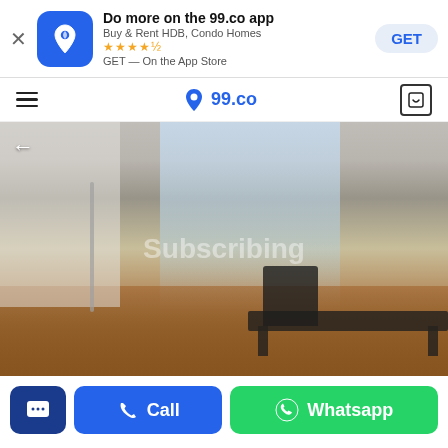[Figure (screenshot): App install banner for 99.co app showing icon, title 'Do more on the 99.co app', subtitle 'Buy & Rent HDB, Condo Homes', star rating, App Store text, and GET button]
[Figure (screenshot): Navigation bar with hamburger menu, 99.co logo, and bookmark icon]
[Figure (photo): Interior photo of a room with a desk, office chair, floor lamp, large window with view of city, and watermark text 'Subscribing']
[Figure (screenshot): Action bar with message button (dark blue), Call button (blue), and Whatsapp button (green)]
$2,200,000